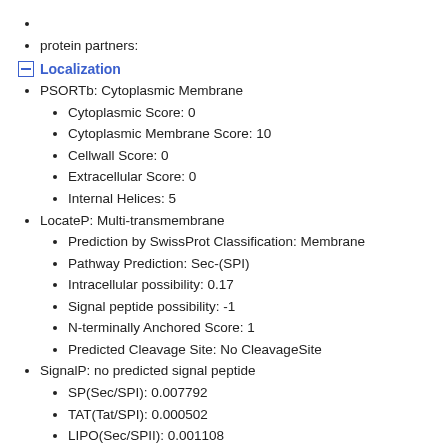protein partners:
Localization
PSORTb: Cytoplasmic Membrane
Cytoplasmic Score: 0
Cytoplasmic Membrane Score: 10
Cellwall Score: 0
Extracellular Score: 0
Internal Helices: 5
LocateP: Multi-transmembrane
Prediction by SwissProt Classification: Membrane
Pathway Prediction: Sec-(SPI)
Intracellular possibility: 0.17
Signal peptide possibility: -1
N-terminally Anchored Score: 1
Predicted Cleavage Site: No CleavageSite
SignalP: no predicted signal peptide
SP(Sec/SPI): 0.007792
TAT(Tat/SPI): 0.000502
LIPO(Sec/SPII): 0.001108
predicted transmembrane helices (TMHMM): 5